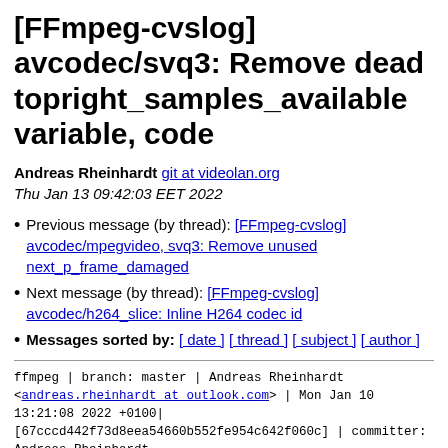[FFmpeg-cvslog] avcodec/svq3: Remove dead topright_samples_available variable, code
Andreas Rheinhardt git at videolan.org
Thu Jan 13 09:42:03 EET 2022
Previous message (by thread): [FFmpeg-cvslog] avcodec/mpegvideo, svq3: Remove unused next_p_frame_damaged
Next message (by thread): [FFmpeg-cvslog] avcodec/h264_slice: Inline H264 codec id
Messages sorted by: [ date ] [ thread ] [ subject ] [ author ]
ffmpeg | branch: master | Andreas Rheinhardt <andreas.rheinhardt at outlook.com> | Mon Jan 10 13:21:08 2022 +0100|
[67cccd442f73d8eea54660b552fe954c642f060c] | committer: Andreas Rheinhardt